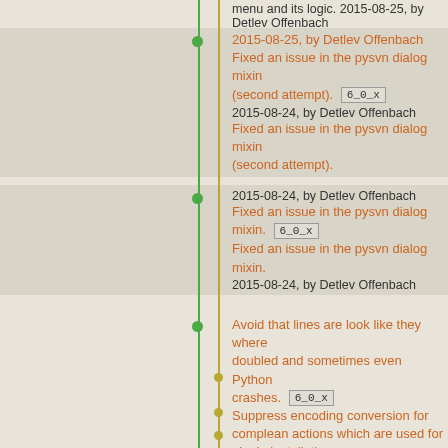menu and its logic. 2015-08-25, by Detlev Offenbach
Fixed an issue in the pysvn dialog mixin (second attempt). [6_0_x] 2015-08-24, by Detlev Offenbach Fixed an issue in the pysvn dialog mixin (second attempt).
Fixed an issue in the pysvn dialog mixin. [6_0_x] 2015-08-24, by Detlev Offenbach Fixed an issue in the pysvn dialog mixin. 2015-08-24, by Detlev Offenbach
Avoid that lines are look like they where doubled and sometimes even Python crashes. [6_0_x] 2015-08-23, by T.Rzepka Suppress encoding conversion for complean actions which are used for plugin installation. 2015-08-23, by T.Rzepka Source files now executable even with unicodes in path or filename. 2015-08-23, by T.Rzepka Handling of unicode chars in user name now handled correctly, + importing of PySide doesn't waste memory any more. Improved error reporting at start up. 2015-08-23, by T.Rzepka 2015-08-23, by T.Rzepka
Avoid that lines are look like they where doubled and sometimes even Python crashes. 2015-08-23, by T.Rzepka Enhanced the install.py help info in case no PyQt variant can be found. [6_0_x] 2015-08-22, by Detlev Offenbach